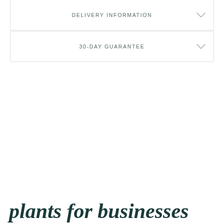DELIVERY INFORMATION
30-DAY GUARANTEE
plants for businesses